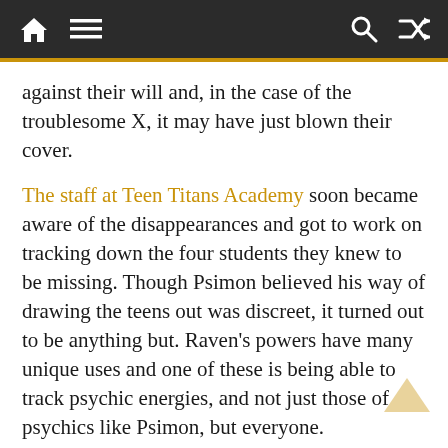Navigation bar with home, menu, search, and shuffle icons
against their will and, in the case of the troublesome X, it may have just blown their cover.
The staff at Teen Titans Academy soon became aware of the disappearances and got to work on tracking down the four students they knew to be missing. Though Psimon believed his way of drawing the teens out was discreet, it turned out to be anything but. Raven’s powers have many unique uses and one of these is being able to track psychic energies, and not just those of psychics like Psimon, but everyone.
According to her, everyone has a unique psionic pulse. She isn’t a psychic herself so can’t follow it too far but she can trace it far enough. These pulses don’t stop, not even when someone dies